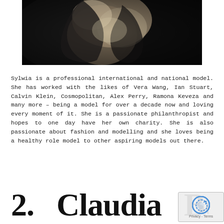[Figure (photo): Partial view of a female model in black clothing against a dark background, cropped to show torso and arms]
Sylwia is a professional international and national model. She has worked with the likes of Vera Wang, Ian Stuart, Calvin Klein, Cosmopolitan, Alex Perry, Ramona Keveza and many more – being a model for over a decade now and loving every moment of it. She is a passionate philanthropist and hopes to one day have her own charity. She is also passionate about fashion and modelling and she loves being a healthy role model to other aspiring models out there.
2. Claudia Bow...